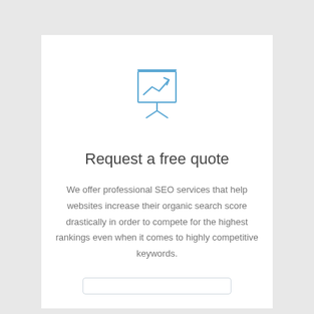[Figure (illustration): Line-art icon of a presentation board/easel with an upward trending line/arrow chart drawn on it, in light blue color]
Request a free quote
We offer professional SEO services that help websites increase their organic search score drastically in order to compete for the highest rankings even when it comes to highly competitive keywords.